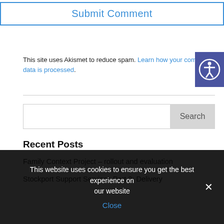Submit Comment
This site uses Akismet to reduce spam. Learn how your comment data is processed.
[Figure (other): Accessibility icon button (person with circle, blue/purple background)]
Recent Posts
Family Context Project – rollout and evaluation
Stockport Support Services Part 2: Delivery
This website uses cookies to ensure you get the best experience on our website
Close